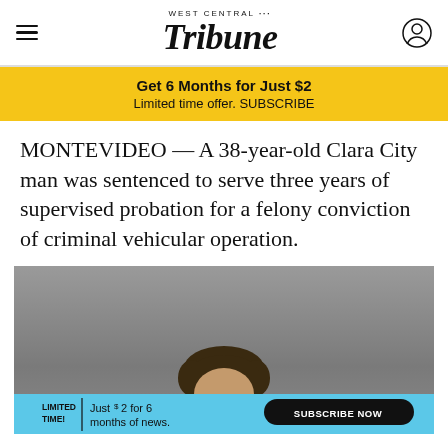West Central Tribune
Get 6 Months for Just $2
Limited time offer. SUBSCRIBE
MONTEVIDEO — A 38-year-old Clara City man was sentenced to serve three years of supervised probation for a felony conviction of criminal vehicular operation.
[Figure (photo): Mugshot-style photo of a person with dark hair against a gray background, partially visible, with a subscription advertisement overlay at the bottom reading: LIMITED TIME! Just $2 for 6 months of news. SUBSCRIBE NOW]
LIMITED TIME! Just $2 for 6 months of news. SUBSCRIBE NOW